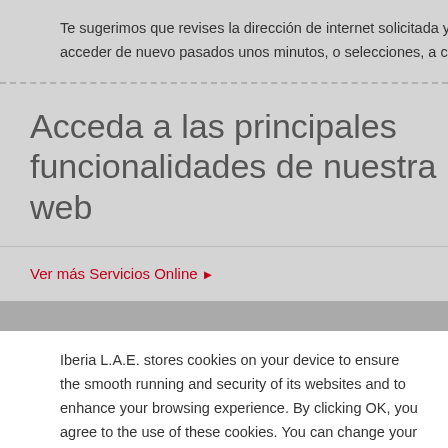Te sugerimos que revises la dirección de internet solicitada ya qu acceder de nuevo pasados unos minutos, o selecciones, a contin
Acceda a las principales funcionalidades de nuestra web
Ver más Servicios Online ▶
Iberia L.A.E. stores cookies on your device to ensure the smooth running and security of its websites and to enhance your browsing experience. By clicking OK, you agree to the use of these cookies. You can change your settings whenever you want in Cookies Settings. For more information, please see our Cookies Policy.